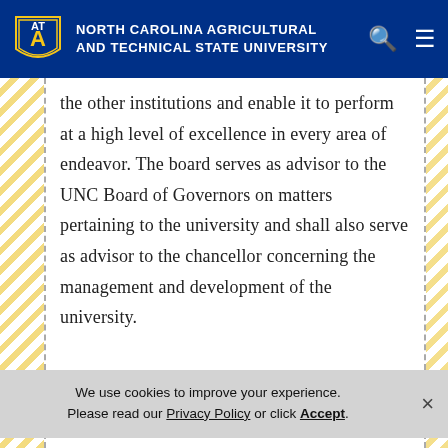North Carolina Agricultural and Technical State University
the other institutions and enable it to perform at a high level of excellence in every area of endeavor. The board serves as advisor to the UNC Board of Governors on matters pertaining to the university and shall also serve as advisor to the chancellor concerning the management and development of the university.
We use cookies to improve your experience. Please read our Privacy Policy or click Accept.
minutes.